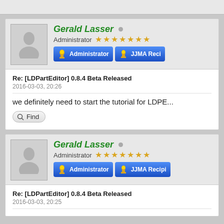[Figure (screenshot): Forum post by Gerald Lasser showing Administrator role with gold stars and blue badge buttons. Post title: Re: [LDPartEditor] 0.8.4 Beta Released, dated 2016-03-03, 20:26. Post text: we definitely need to start the tutorial for LDPE...]
[Figure (screenshot): Second forum post by Gerald Lasser, Administrator, with gold stars and blue badge buttons. Post title: Re: [LDPartEditor] 0.8.4 Beta Released, dated 2016-03-03, 20:25. Post is truncated.]